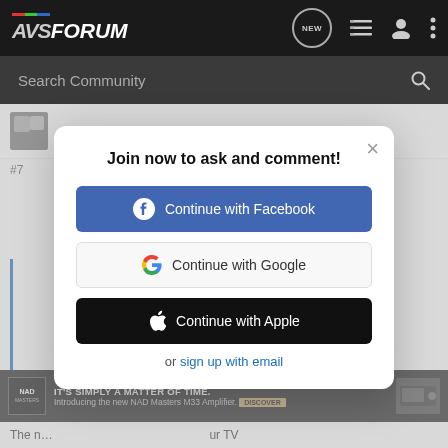[Figure (screenshot): AVSForum navigation bar with logo, NEW bubble icon, list icon, user icon, and three-dot menu]
Search Community
CZ Eddie · Registered 🇺🇸
#7
Join now to ask and comment!
Continue with Facebook
Continue with Google
Continue with Apple
or sign up with email
[Figure (photo): NAD Masters M33 Amplifier advertisement banner]
The n...                                      ur TV